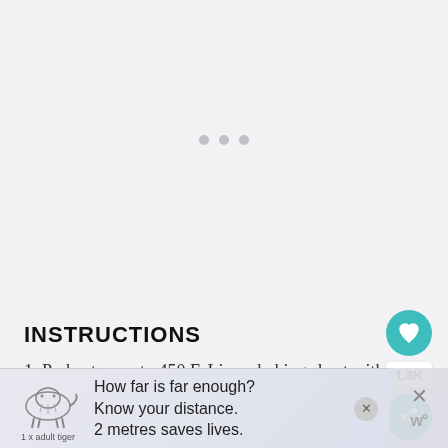[Figure (other): Loading placeholder area with three grey dots centered on a light grey background]
INSTRUCTIONS
1. Preheat oven to 450 F. Line a baking sheet with
[Figure (other): Advertisement banner: tiger illustration with text 'How far is far enough? Know your distance. 2 metres saves lives.' with close button and 1 x adult tiger label]